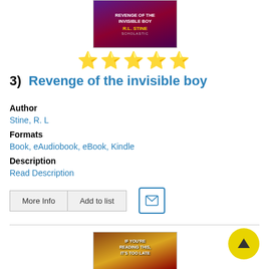[Figure (photo): Book cover for 'Revenge of the Invisible Boy' by R.L. Stine, Scholastic, purple/red background]
[Figure (other): Five yellow star rating icons]
3)  Revenge of the invisible boy
Author
Stine, R. L
Formats
Book, eAudiobook, eBook, Kindle
Description
Read Description
[Figure (other): Buttons: More Info, Add to list, and email envelope icon]
[Figure (photo): Book cover for 'If You're Reading This, It's Too Late' with theatrical curtain and glowing object]
[Figure (other): Yellow circular scroll-to-top button with upward arrow]